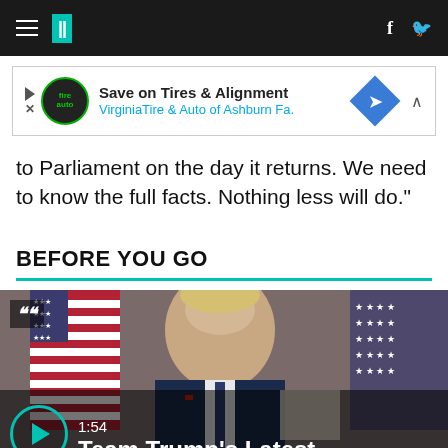HuffPost navigation
[Figure (screenshot): Advertisement banner for Virginia Tire & Auto of Ashburn: Save on Tires & Alignment]
to Parliament on the day it returns. We need to know the full facts. Nothing less will do."
BEFORE YOU GO
[Figure (screenshot): Video thumbnail showing a man in a suit with US flags, play button overlay, duration 1:54, title: Team Trump's Latest]